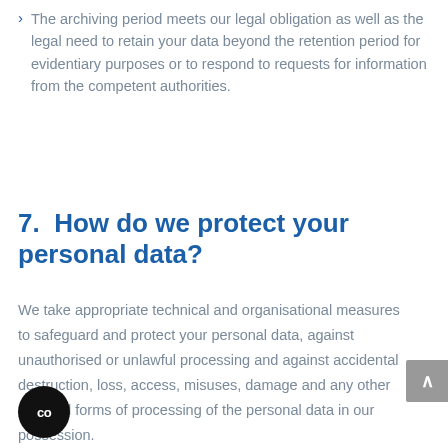The archiving period meets our legal obligation as well as the legal need to retain your data beyond the retention period for evidentiary purposes or to respond to requests for information from the competent authorities.
7.  How do we protect your personal data?
We take appropriate technical and organisational measures to safeguard and protect your personal data, against unauthorised or unlawful processing and against accidental destruction, loss, access, misuses, damage and any other unlawful forms of processing of the personal data in our possession.